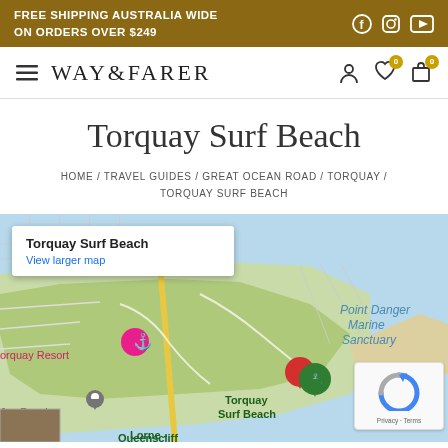FREE SHIPPING AUSTRALIA WIDE ON ORDERS OVER $249
WAY&FARER
Torquay Surf Beach
HOME / TRAVEL GUIDES / GREAT OCEAN ROAD / TORQUAY / TORQUAY SURF BEACH
[Figure (map): Google Maps showing Torquay Surf Beach, Victoria, Australia. Map displays Point Danger Marine Sanctuary to the east, Torquay Resort marker to the northwest, Torquay Surf Beach red marker in center, Juc Beach label to the southwest, and Lorne-Queenscliff label at bottom. A popup shows 'Torquay Surf Beach' with 'View larger map' link. reCAPTCHA widget and Privacy/Terms links visible in bottom right.]